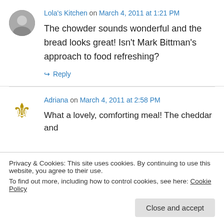Lola's Kitchen on March 4, 2011 at 1:21 PM
The chowder sounds wonderful and the bread looks great! Isn't Mark Bittman's approach to food refreshing?
↳ Reply
Adriana on March 4, 2011 at 2:58 PM
What a lovely, comforting meal! The cheddar and
Privacy & Cookies: This site uses cookies. By continuing to use this website, you agree to their use. To find out more, including how to control cookies, see here: Cookie Policy
Close and accept